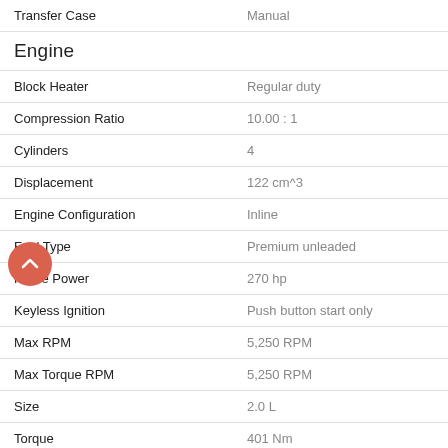| Attribute | Value |
| --- | --- |
| Transfer Case | Manual |
| Engine |  |
| Block Heater | Regular duty |
| Compression Ratio | 10.00 : 1 |
| Cylinders | 4 |
| Displacement | 122 cm^3 |
| Engine Configuration | Inline |
| Fuel Type | Premium unleaded |
| Horse Power | 270 hp |
| Keyless Ignition | Push button start only |
| Max RPM | 5,250 RPM |
| Max Torque RPM | 5,250 RPM |
| Size | 2.0 L |
| Torque | 401 Nm |
| Total Valves | 16 |
| Type | Premium unleaded |
| Valve Gear | DOHC |